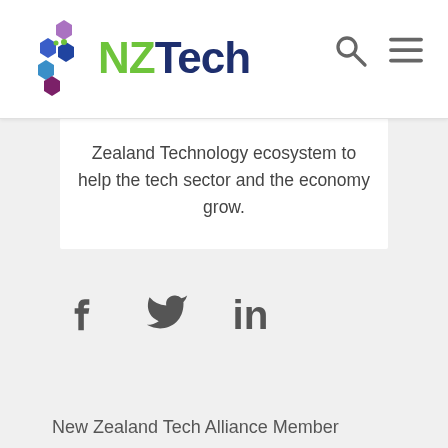[Figure (logo): NZTech logo with hexagon cluster graphic and NZ in green, Tech in dark navy blue text]
Zealand Technology ecosystem to help the tech sector and the economy grow.
[Figure (infographic): Social media icons: Facebook (f), Twitter (bird), LinkedIn (in)]
New Zealand Tech Alliance Member